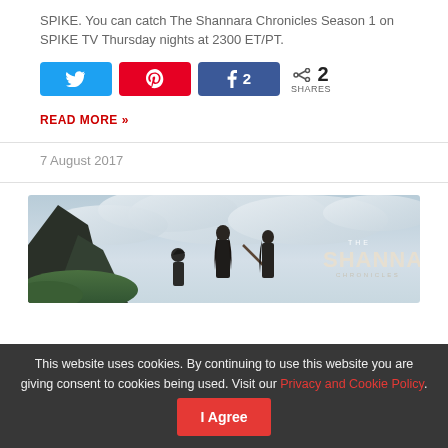SPIKE. You can catch The Shannara Chronicles Season 1 on SPIKE TV Thursday nights at 2300 ET/PT.
[Figure (infographic): Social share buttons: Twitter (blue), Pinterest (red), Facebook with count 2 (dark blue), share icon with count 2 SHARES]
READ MORE »
7 August 2017
[Figure (photo): The Shannara Chronicles promotional image showing characters against a cloudy sky with the show logo on the right]
This website uses cookies. By continuing to use this website you are giving consent to cookies being used. Visit our Privacy and Cookie Policy. I Agree